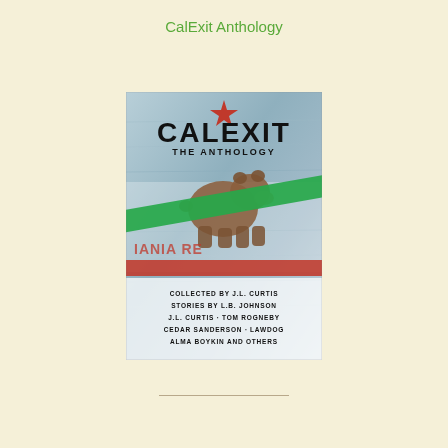CalExit Anthology
[Figure (illustration): Book cover of 'CalExit The Anthology'. Features a distressed California flag with a bear silhouette, red star at top, green and red diagonal stripes. Black text reads 'CALEXIT THE ANTHOLOGY'. Bottom panel lists: 'COLLECTED BY J.L. CURTIS / STORIES BY L.B. JOHNSON / J.L. CURTIS · TOM ROGNEBY / CEDAR SANDERSON · LAWDOG / ALMA BOYKIN AND OTHERS']